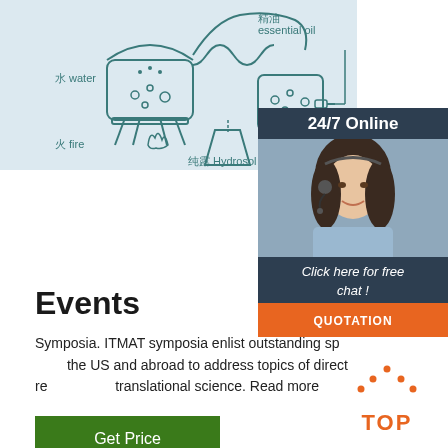[Figure (illustration): Schematic diagram of water distillation / essential oil extraction process with Chinese and English labels: 水 water, 火 fire, 纯露 Hydrosol, 精油 essential oil]
[Figure (infographic): 24/7 Online chat panel with agent photo, 'Click here for free chat!' text, and QUOTATION button]
Events
Symposia. ITMAT symposia enlist outstanding speakers from the US and abroad to address topics of direct relevance to translational science. Read more
[Figure (other): Green 'Get Price' button]
[Figure (other): Orange TOP arrow/button icon]